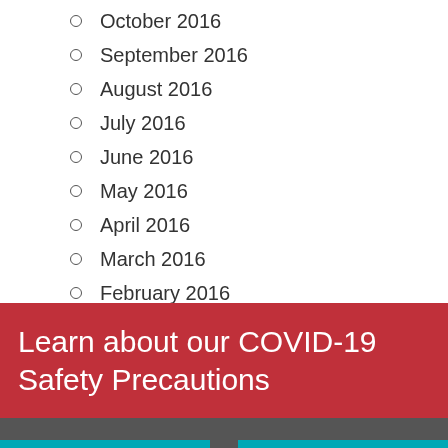October 2016
September 2016
August 2016
July 2016
June 2016
May 2016
April 2016
March 2016
February 2016
January 2016
December 2015
November 2015
October 2015
September 2015
Learn about our COVID-19 Safety Precautions